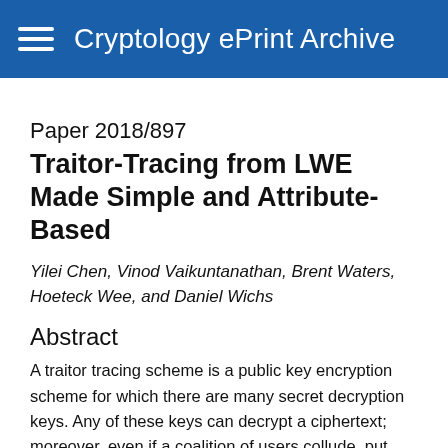Cryptology ePrint Archive
Paper 2018/897
Traitor-Tracing from LWE Made Simple and Attribute-Based
Yilei Chen, Vinod Vaikuntanathan, Brent Waters, Hoeteck Wee, and Daniel Wichs
Abstract
A traitor tracing scheme is a public key encryption scheme for which there are many secret decryption keys. Any of these keys can decrypt a ciphertext; moreover, even if a coalition of users collude, put together their decryption keys and attempt to create a new decryption key, there is an efficient algorithm to trace the new decryption key back to